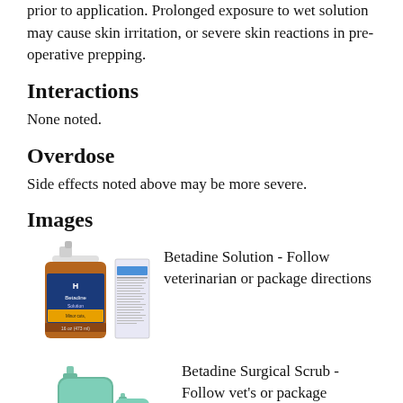prior to application. Prolonged exposure to wet solution may cause skin irritation, or severe skin reactions in pre-operative prepping.
Interactions
None noted.
Overdose
Side effects noted above may be more severe.
Images
[Figure (photo): Betadine Solution bottle with label, alongside a flat packaging card]
Betadine Solution - Follow veterinarian or package directions
[Figure (photo): Two Betadine Surgical Scrub bottles (large and small, teal/green colored)]
Betadine Surgical Scrub - Follow vet's or package directions